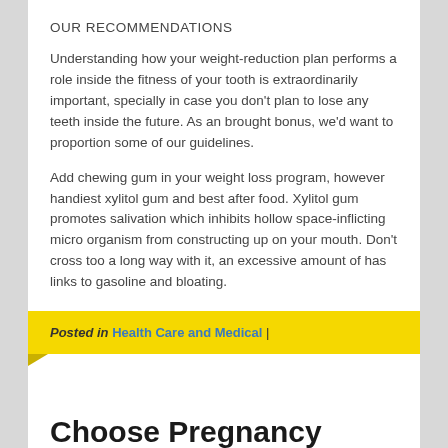OUR RECOMMENDATIONS
Understanding how your weight-reduction plan performs a role inside the fitness of your tooth is extraordinarily important, specially in case you don't plan to lose any teeth inside the future. As an brought bonus, we'd want to proportion some of our guidelines.
Add chewing gum in your weight loss program, however handiest xylitol gum and best after food. Xylitol gum promotes salivation which inhibits hollow space-inflicting micro organism from constructing up on your mouth. Don't cross too a long way with it, an excessive amount of has links to gasoline and bloating.
Posted in Health Care and Medical |
Choose Pregnancy Pillow